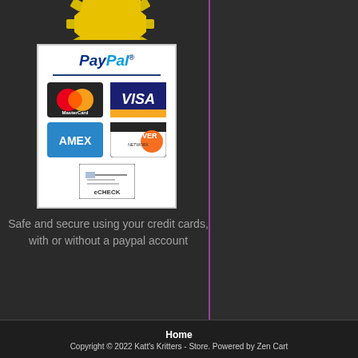[Figure (illustration): Partial gold gear/badge shape visible at top, cropped]
[Figure (logo): PayPal payment panel showing PayPal logo, MasterCard, Visa, AMEX, Discover, and eCheck card icons on white background]
Safe and secure using your credit cards, with or without a paypal account
Home
Copyright © 2022 Katt's Kritters - Store. Powered by Zen Cart